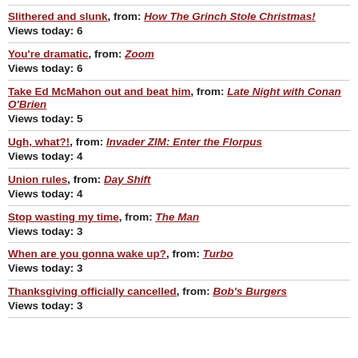Slithered and slunk, from: How The Grinch Stole Christmas! Views today: 6
You're dramatic, from: Zoom Views today: 6
Take Ed McMahon out and beat him, from: Late Night with Conan O'Brien Views today: 5
Ugh, what?!, from: Invader ZIM: Enter the Florpus Views today: 4
Union rules, from: Day Shift Views today: 4
Stop wasting my time, from: The Man Views today: 3
When are you gonna wake up?, from: Turbo Views today: 3
Thanksgiving officially cancelled, from: Bob's Burgers Views today: 3